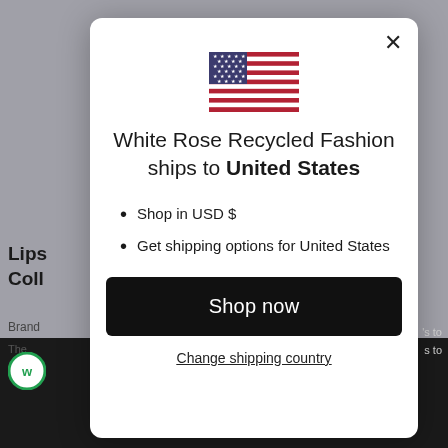[Figure (screenshot): A modal dialog overlay on an e-commerce website. The modal shows a US flag, text about shipping to United States, bullet points about USD and shipping options, a 'Shop now' button, and a 'Change shipping country' link. Background shows a blurred product page for 'Lipstick Collection'.]
White Rose Recycled Fashion ships to United States
Shop in USD $
Get shipping options for United States
Shop now
Change shipping country